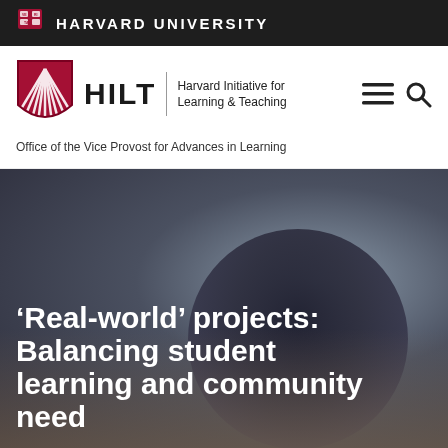HARVARD UNIVERSITY
[Figure (logo): HILT Harvard Initiative for Learning & Teaching logo with shield]
Office of the Vice Provost for Advances in Learning
[Figure (photo): Blurred background photo of a person in a dark jacket]
‘Real-world’ projects: Balancing student learning and community need